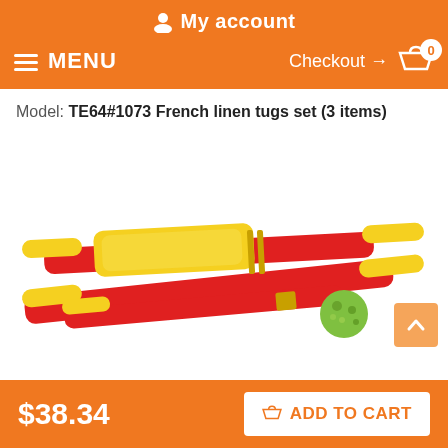My account
MENU  Checkout → 0
Model: TE64#1073 French linen tugs set (3 items)
[Figure (photo): Photo of French linen tugs set showing red and yellow dog training tugs with a ball-shaped toy on a white background]
$38.34
ADD TO CART